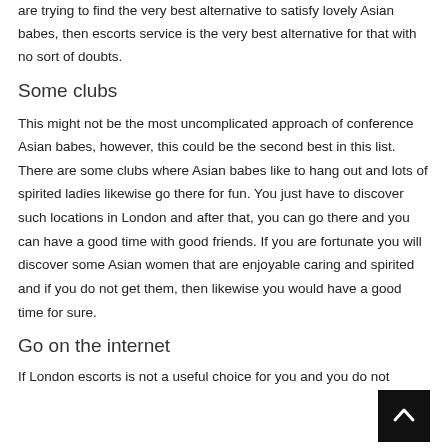are trying to find the very best alternative to satisfy lovely Asian babes, then escorts service is the very best alternative for that with no sort of doubts.
Some clubs
This might not be the most uncomplicated approach of conference Asian babes, however, this could be the second best in this list. There are some clubs where Asian babes like to hang out and lots of spirited ladies likewise go there for fun. You just have to discover such locations in London and after that, you can go there and you can have a good time with good friends. If you are fortunate you will discover some Asian women that are enjoyable caring and spirited and if you do not get them, then likewise you would have a good time for sure.
Go on the internet
If London escorts is not a useful choice for you and you do not